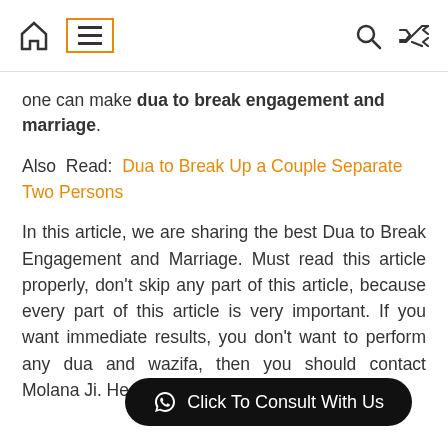[Navigation bar with home, menu, search, and shuffle icons]
one can make dua to break engagement and marriage.
Also Read: Dua to Break Up a Couple Separate Two Persons
In this article, we are sharing the best Dua to Break Engagement and Marriage. Must read this article properly, don't skip any part of this article, because every part of this article is very important. If you want immediate results, you don't want to perform any dua and wazifa, then you should contact Molana Ji. He will surely help you.
[Figure (other): WhatsApp Click To Consult With Us button (black rounded rectangle with WhatsApp icon)]